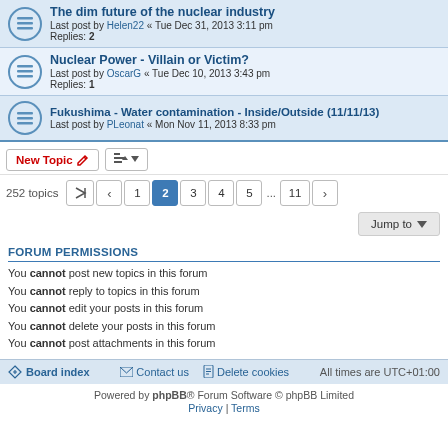The dim future of the nuclear industry — Last post by Helen22 « Tue Dec 31, 2013 3:11 pm — Replies: 2
Nuclear Power - Villain or Victim? — Last post by OscarG « Tue Dec 10, 2013 3:43 pm — Replies: 1
Fukushima - Water contamination - Inside/Outside (11/11/13) — Last post by PLeonat « Mon Nov 11, 2013 8:33 pm
252 topics — Page 2 of 11
FORUM PERMISSIONS
You cannot post new topics in this forum
You cannot reply to topics in this forum
You cannot edit your posts in this forum
You cannot delete your posts in this forum
You cannot post attachments in this forum
Board index   Contact us   Delete cookies   All times are UTC+01:00
Powered by phpBB® Forum Software © phpBB Limited
Privacy | Terms